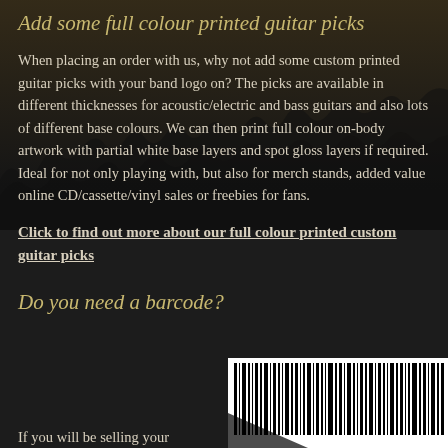Add some full colour printed guitar picks
When placing an order with us, why not add some custom printed guitar picks with your band logo on? The picks are available in different thicknesses for acoustic/electric and bass guitars and also lots of different base colours. We can then print full colour on-body artwork with partial white base layers and spot gloss layers if required. Ideal for not only playing with, but also for merch stands, added value online CD/cassette/vinyl sales or freebies for fans.
Click to find out more about our full colour printed custom guitar picks
Do you need a barcode?
If you will be selling your
[Figure (other): Barcode image — black and white vertical bars of varying widths forming a product barcode]